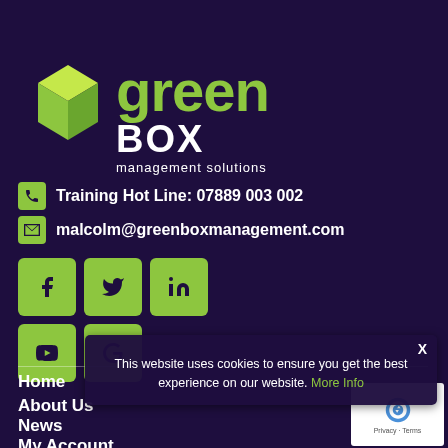[Figure (logo): Green Box Management Solutions logo — a 3D green cube on the left, 'green' in large lime-green text, 'BOX' in large white text, and 'management solutions' subtitle in white below]
Training Hot Line: 07889 003 002
malcolm@greenboxmanagement.com
[Figure (infographic): Row of social media icon buttons (Facebook, Twitter, LinkedIn, YouTube) with a Google icon below, all in lime-green on dark purple background]
Home
About Us
News
Contact Us
My Account
This website uses cookies to ensure you get the best experience on our website. More Info